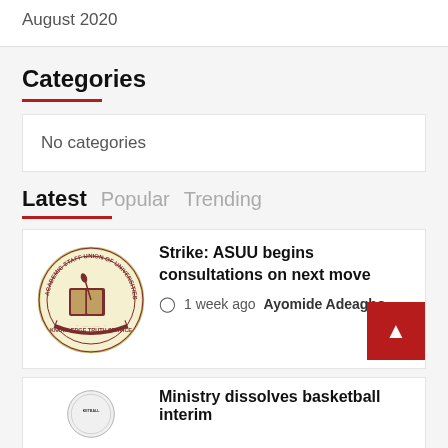August 2020
Categories
No categories
Latest  Popular  Trending
Strike: ASUU begins consultations on next move
1 week ago  Ayomide Adeagbo
Ministry dissolves basketball interim